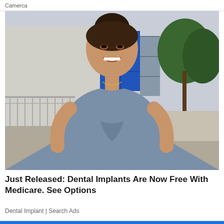Camerca
[Figure (photo): A smiling young woman with dark hair in an updo, wearing a grey-blue short-sleeve fitted top and a gold necklace, standing outdoors in front of a building with a metal fence and a tree in the background.]
Just Released: Dental Implants Are Now Free With Medicare. See Options
Dental Implant | Search Ads